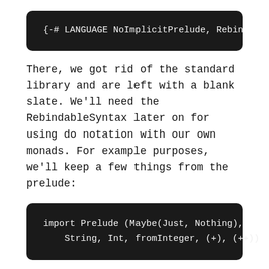[Figure (screenshot): Dark code block showing Haskell language pragma: {-# LANGUAGE NoImplicitPrelude, RebindableSynta]
There, we got rid of the standard library and are left with a blank slate. We'll need the RebindableSyntax later on for using do notation with our own monads. For example purposes, we'll keep a few things from the prelude:
[Figure (screenshot): Dark code block showing Haskell import: import Prelude (Maybe(Just, Nothing), String, Int, fromInteger, (+), (++))]
We can now forget about applicative functors and other funny sounding concepts, and focus on defining monads as they would look given none of the cruft. Here it is: